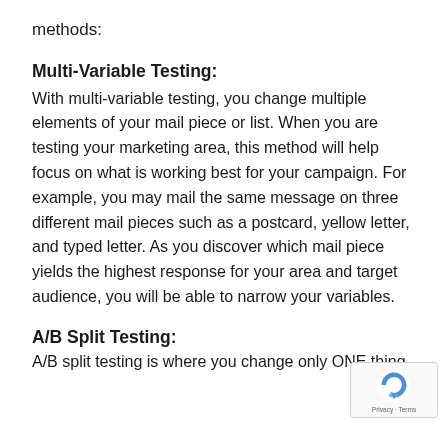methods:
Multi-Variable Testing:
With multi-variable testing, you change multiple elements of your mail piece or list. When you are testing your marketing area, this method will help focus on what is working best for your campaign. For example, you may mail the same message on three different mail pieces such as a postcard, yellow letter, and typed letter. As you discover which mail piece yields the highest response for your area and target audience, you will be able to narrow your variables.
A/B Split Testing:
A/B split testing is where you change only ONE thing